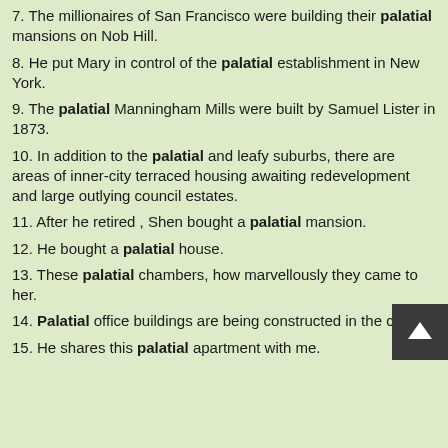7. The millionaires of San Francisco were building their palatial mansions on Nob Hill.
8. He put Mary in control of the palatial establishment in New York.
9. The palatial Manningham Mills were built by Samuel Lister in 1873.
10. In addition to the palatial and leafy suburbs, there are areas of inner-city terraced housing awaiting redevelopment and large outlying council estates.
11. After he retired , Shen bought a palatial mansion.
12. He bought a palatial house.
13. These palatial chambers, how marvellously they came to her.
14. Palatial office buildings are being constructed in the city.
15. He shares this palatial apartment with me.